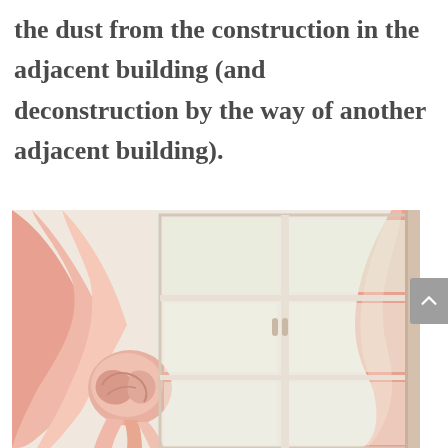the dust from the construction in the adjacent building (and deconstruction by the way of another adjacent building).
[Figure (photo): A window with pink/salmon sheer curtains tied back in a knot, with white window frames visible. Soft natural light coming through the window panes.]